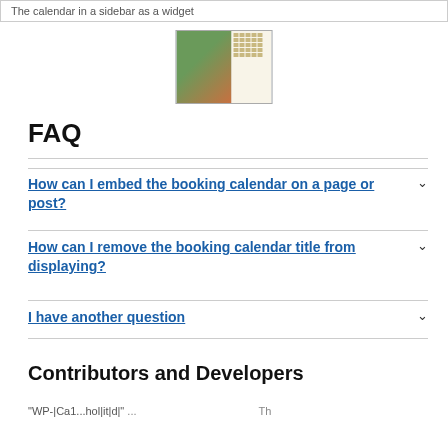The calendar in a sidebar as a widget
[Figure (screenshot): Screenshot of a website showing a booking calendar widget in a sidebar with a chalet/house photo]
FAQ
How can I embed the booking calendar on a page or post?
How can I remove the booking calendar title from displaying?
I have another question
Contributors and Developers
"WP-|Ca1...hol|it|d|" ...